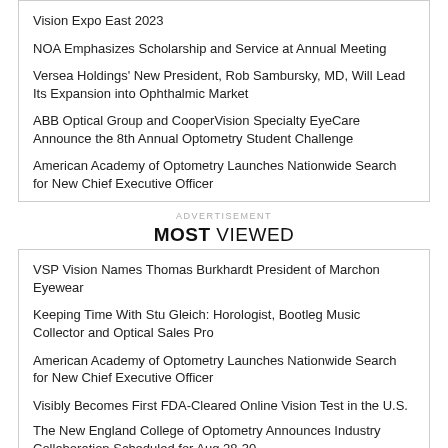Vision Expo East 2023
NOA Emphasizes Scholarship and Service at Annual Meeting
Versea Holdings' New President, Rob Sambursky, MD, Will Lead Its Expansion into Ophthalmic Market
ABB Optical Group and CooperVision Specialty EyeCare Announce the 8th Annual Optometry Student Challenge
American Academy of Optometry Launches Nationwide Search for New Chief Executive Officer
ADVERTISEMENT
MOST VIEWED
VSP Vision Names Thomas Burkhardt President of Marchon Eyewear
Keeping Time With Stu Gleich: Horologist, Bootleg Music Collector and Optical Sales Pro
American Academy of Optometry Launches Nationwide Search for New Chief Executive Officer
Visibly Becomes First FDA-Cleared Online Vision Test in the U.S.
The New England College of Optometry Announces Industry Collaboration Scheduled for Aug 28-30